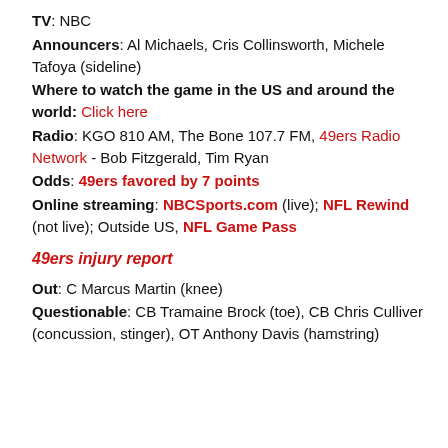TV: NBC
Announcers: Al Michaels, Cris Collinsworth, Michele Tafoya (sideline)
Where to watch the game in the US and around the world: Click here
Radio: KGO 810 AM, The Bone 107.7 FM, 49ers Radio Network - Bob Fitzgerald, Tim Ryan
Odds: 49ers favored by 7 points
Online streaming: NBCSports.com (live); NFL Rewind (not live); Outside US, NFL Game Pass
49ers injury report
Out: C Marcus Martin (knee)
Questionable: CB Tramaine Brock (toe), CB Chris Culliver (concussion, stinger), OT Anthony Davis (hamstring)